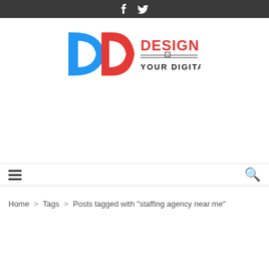f  [twitter icon]
[Figure (logo): Design Dare logo with blue and red DD lettermark and text 'DESIGN DARE - YOUR DIGITAL PARTNER']
≡  [hamburger menu]  [search icon]
Home > Tags > Posts tagged with "staffing agency near me"